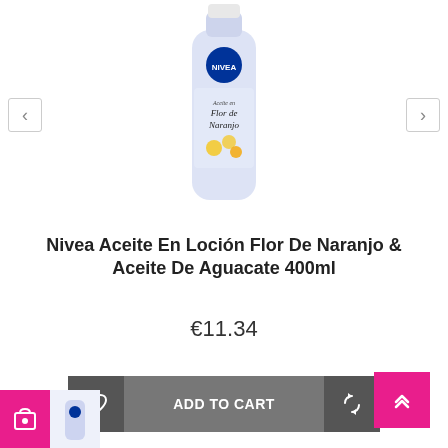[Figure (photo): NIVEA Aceite en Loción Flor de Naranjo product bottle, white/lavender bottle with orange blossom motif, NIVEA logo in blue circle at top]
Nivea Aceite En Loción Flor De Naranjo & Aceite De Aguacate 400ml
€11.34
[Figure (screenshot): Add to cart button row with wishlist heart icon, ADD TO CART button in grey, and refresh/compare icon button]